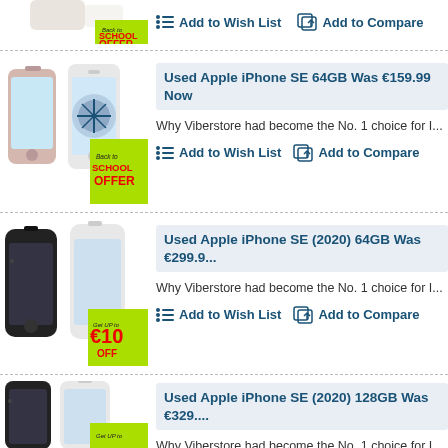[Figure (screenshot): Top partial product row showing Back to School OFFER badge and Add to Wish List / Add to Compare buttons]
[Figure (photo): Used Apple iPhone SE 64GB product image with Back to SCHOOL OFFER lime green badge]
Used Apple iPhone SE 64GB Was €159.99 Now
Why Viberstore had become the No. 1 choice for I...
Add to Wish List   Add to Compare
[Figure (photo): Used Apple iPhone SE (2020) 64GB product image with Get UP to €10 OFF lime green badge]
Used Apple iPhone SE (2020) 64GB Was €299.9...
Why Viberstore had become the No. 1 choice for I...
Add to Wish List   Add to Compare
[Figure (photo): Used Apple iPhone SE (2020) 128GB product image with Get UP to badge, partial]
Used Apple iPhone SE (2020) 128GB Was €329....
Why Viberstore had become the No. 1 choice for I...